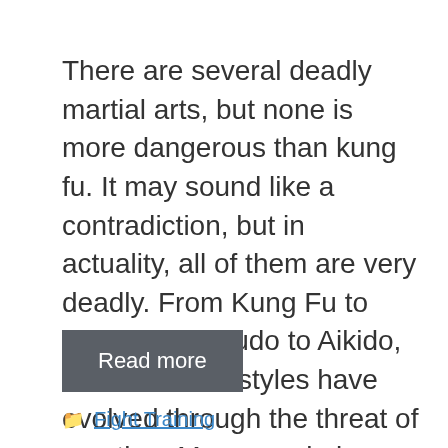There are several deadly martial arts, but none is more dangerous than kung fu. It may sound like a contradiction, but in actuality, all of them are very deadly. From Kung Fu to Taekwondo, Judo to Aikido, these combat styles have evolved through the threat of a nation. Many use knives as weapons to add …
Read more
Fight Training